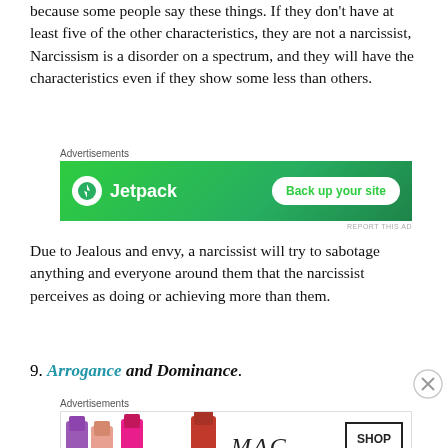because some people say these things. If they don't have at least five of the other characteristics, they are not a narcissist, Narcissism is a disorder on a spectrum, and they will have the characteristics even if they show some less than others.
[Figure (other): Jetpack advertisement banner with green background, Jetpack logo and 'Back up your site' button]
Due to Jealous and envy, a narcissist will try to sabotage anything and everyone around them that the narcissist perceives as doing or achieving more than them.
9. Arrogance and Dominance.
[Figure (other): MAC cosmetics advertisement banner showing lipsticks and 'SHOP NOW' button]